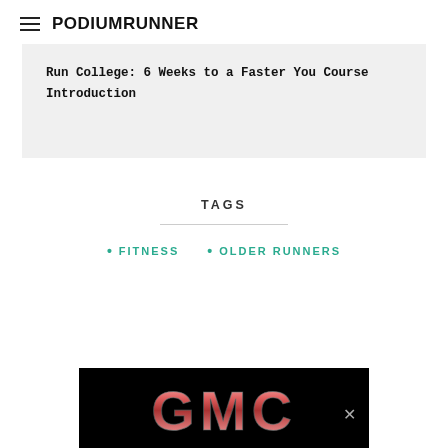PodiumRunner
Run College: 6 Weeks to a Faster You Course Introduction
TAGS
FITNESS
OLDER RUNNERS
[Figure (logo): GMC logo advertisement banner with red metallic lettering on black background with a close button]